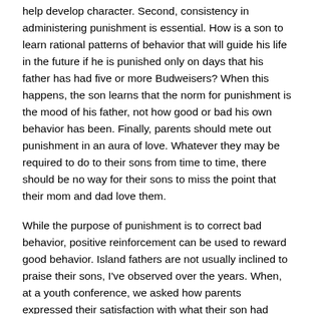help develop character. Second, consistency in administering punishment is essential. How is a son to learn rational patterns of behavior that will guide his life in the future if he is punished only on days that his father has had five or more Budweisers? When this happens, the son learns that the norm for punishment is the mood of his father, not how good or bad his own behavior has been. Finally, parents should mete out punishment in an aura of love. Whatever they may be required to do to their sons from time to time, there should be no way for their sons to miss the point that their mom and dad love them.
While the purpose of punishment is to correct bad behavior, positive reinforcement can be used to reward good behavior. Island fathers are not usually inclined to praise their sons, I've observed over the years. When, at a youth conference, we asked how parents expressed their satisfaction with what their son had done, a Yapese told us that when he was growing up lack of criticism from his father was taken as approval. Island fathers don't have to throw their arms around their sons or become demonstrative, but they should consider whether they might need to show more positive approbation of their sons at times.